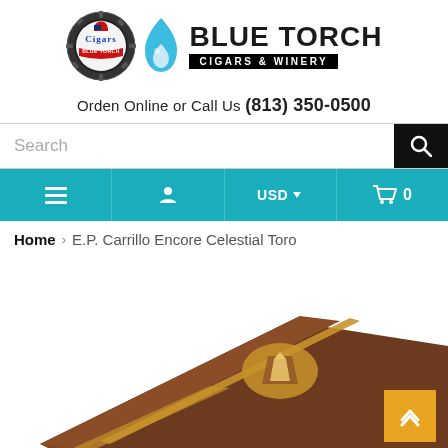[Figure (logo): Blue Torch Cigars & Winery logo with circular badge on left and flame droplet icon with text on right]
Orden Online or Call Us (813) 350-0500
[Figure (screenshot): Search bar with magnifying glass button on right]
[Figure (screenshot): Navigation bar with hamburger menu, user icon, USD currency selector, and cart (0) on teal background]
Home › E.P. Carrillo Encore Celestial Toro
[Figure (photo): Product photo of E.P. Carrillo Encore Celestial Toro cigar box, dark brown with gold emblem, angled view]